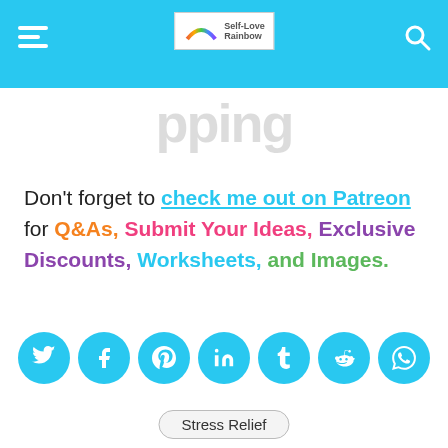Self-Love Rainbow
(partial title visible)
Don't forget to check me out on Patreon for Q&As, Submit Your Ideas, Exclusive Discounts, Worksheets, and Images.
[Figure (infographic): Row of 7 cyan social media share buttons: Twitter, Facebook, Pinterest, LinkedIn, Tumblr, Reddit, WhatsApp]
Stress Relief